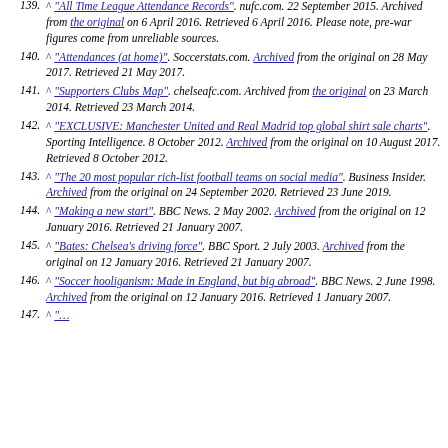139. ^ "All Time League Attendance Records". nufc.com. 22 September 2015. Archived from the original on 6 April 2016. Retrieved 6 April 2016. Please note, pre-war figures come from unreliable sources.
140. ^ "Attendances (at home)". Soccerstats.com. Archived from the original on 28 May 2017. Retrieved 21 May 2017.
141. ^ "Supporters Clubs Map". chelseafc.com. Archived from the original on 23 March 2014. Retrieved 23 March 2014.
142. ^ "EXCLUSIVE: Manchester United and Real Madrid top global shirt sale charts". Sporting Intelligence. 8 October 2012. Archived from the original on 10 August 2017. Retrieved 8 October 2012.
143. ^ "The 20 most popular rich-list football teams on social media". Business Insider. Archived from the original on 24 September 2020. Retrieved 23 June 2019.
144. ^ "Making a new start". BBC News. 2 May 2002. Archived from the original on 12 January 2016. Retrieved 21 January 2007.
145. ^ "Bates: Chelsea's driving force". BBC Sport. 2 July 2003. Archived from the original on 12 January 2016. Retrieved 21 January 2007.
146. ^ "Soccer hooliganism: Made in England, but big abroad". BBC News. 2 June 1998. Archived from the original on 12 January 2016. Retrieved 1 January 2007.
147. ^ ...